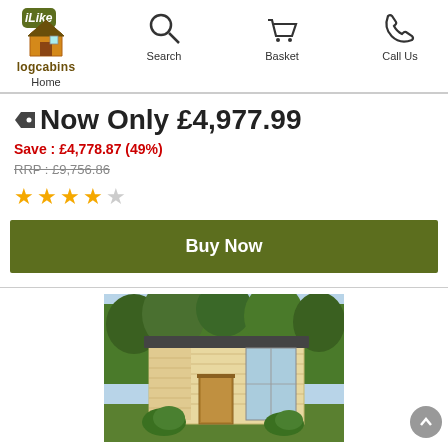iLike logcabins — Home | Search | Basket | Call Us
Now Only £4,977.99
Save : £4,778.87 (49%)
RRP : £9,756.86
[Figure (other): 4 out of 5 star rating (4 filled stars, 1 empty star)]
Buy Now
[Figure (photo): Photo of a wooden log cabin garden building with a flat roof, glass panels, and a central door, surrounded by trees and shrubs]